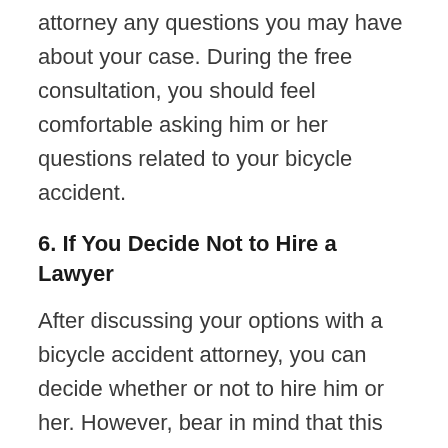attorney any questions you may have about your case. During the free consultation, you should feel comfortable asking him or her questions related to your bicycle accident.
6. If You Decide Not to Hire a Lawyer
After discussing your options with a bicycle accident attorney, you can decide whether or not to hire him or her. However, bear in mind that this would mean losing the opportunity to have the lawyer investigate how and why your bicycle accident happened.